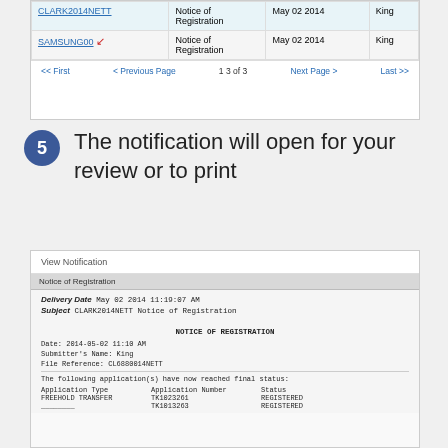[Figure (screenshot): Screenshot of a table showing CLARK2014NETT and SAMSUNG00 rows with Notice of Registration, May 02 2014, King, and pagination controls]
5  The notification will open for your review or to print
[Figure (screenshot): Screenshot of View Notification page showing Notice of Registration with fields: Delivery Date May 02 2014 11:19:07 AM, Subject CLARK2014NETT Notice of Registration, followed by notice content with Date, Submitter Name, File Reference, and a table with Application Type, Application Number, Status showing FREEHOLD TRANSFER TK1023261 REGISTERED and a second row]